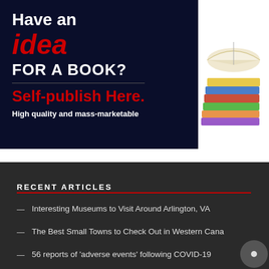[Figure (illustration): Advertisement banner with dark navy background. Text reads: 'Have an idea FOR A BOOK? Self-publish Here. High quality and mass-marketable' with a stack of books illustration on the right.]
RECENT ARTICLES
Interesting Museums to Visit Around Arlington, VA
The Best Small Towns to Check Out in Western Cana…
56 reports of 'adverse events' following COVID-19…